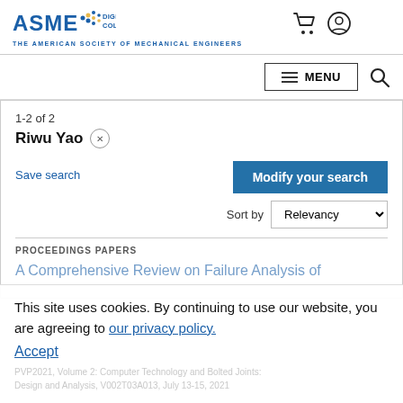[Figure (logo): ASME Digital Collection logo with cart and user icons in header]
≡ MENU
1-2 of 2
Riwu Yao ×
Save search
Modify your search
Sort by  Relevancy
PROCEEDINGS PAPERS
A Comprehensive Review on Failure Analysis of
This site uses cookies. By continuing to use our website, you are agreeing to our privacy policy.
Accept
PVP2021, Volume 2: Computer Technology and Bolted Joints: Design and Analysis, V002T03A013, July 13-15, 2021